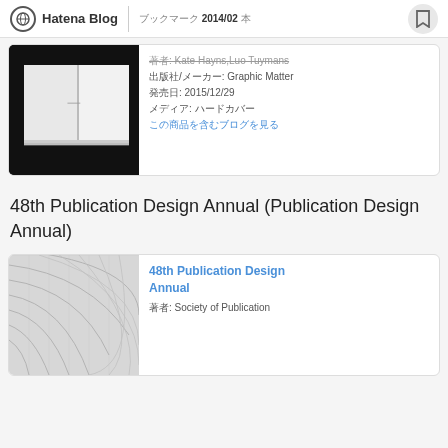Hatena Blog | ブックマーク 2014/02 本
[Figure (photo): Open book photograph with black background]
著者: Kate Hayns,Luo Tuymans
出版社/メーカー: Graphic Matter
発売日: 2015/12/29
メディア: ハードカバー
この商品を含むブログを見る
48th Publication Design Annual (Publication Design Annual)
[Figure (illustration): Book cover with geometric line pattern design in light grey]
48th Publication Design Annual
著者: Society of Publication